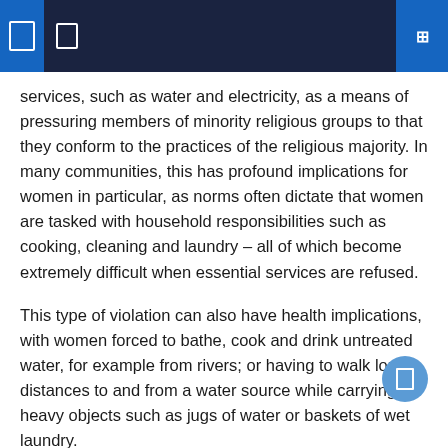services, such as water and electricity, as a means of pressuring members of minority religious groups to that they conform to the practices of the religious majority. In many communities, this has profound implications for women in particular, as norms often dictate that women are tasked with household responsibilities such as cooking, cleaning and laundry – all of which become extremely difficult when essential services are refused.
This type of violation can also have health implications, with women forced to bathe, cook and drink untreated water, for example from rivers; or having to walk long distances to and from a water source while carrying heavy objects such as jugs of water or baskets of wet laundry.
Several participants also alluded to the ripple effect that